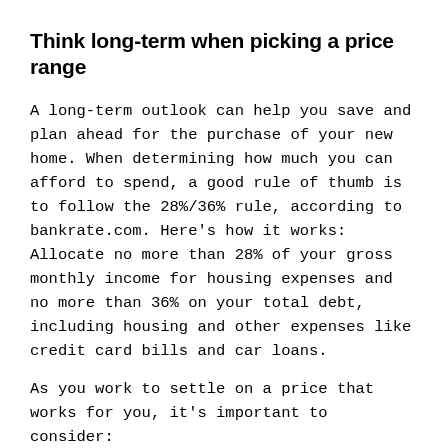Think long-term when picking a price range
A long-term outlook can help you save and plan ahead for the purchase of your new home. When determining how much you can afford to spend, a good rule of thumb is to follow the 28%/36% rule, according to bankrate.com. Here's how it works: Allocate no more than 28% of your gross monthly income for housing expenses and no more than 36% on your total debt, including housing and other expenses like credit card bills and car loans.
As you work to settle on a price that works for you, it's important to consider:
Your down payment, mortgage interest rate, and the length of your loan to ensure your monthly payment fits within your budget.